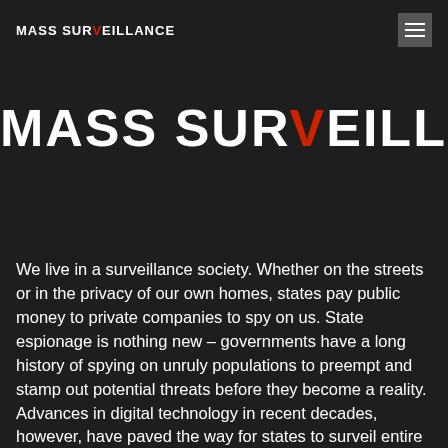MASS SURVEILLANCE
MASS SURVEILLANCE
We live in a surveillance society. Whether on the streets or in the privacy of our own homes, states pay public money to private companies to spy on us. State espionage is nothing new – governments have a long history of spying on unruly populations to preempt and stamp out potential threats before they become a reality. Advances in digital technology in recent decades, however, have paved the way for states to surveil entire populations to an unprecedented and deeply concerning level. Whereas before